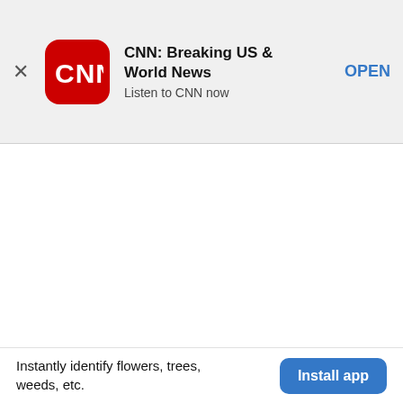[Figure (screenshot): CNN app icon: red rounded square with white CNN letters]
CNN: Breaking US & World News
Listen to CNN now
OPEN
[Figure (other): Large blank white content area]
Instantly identify flowers, trees, weeds, etc.
Install app